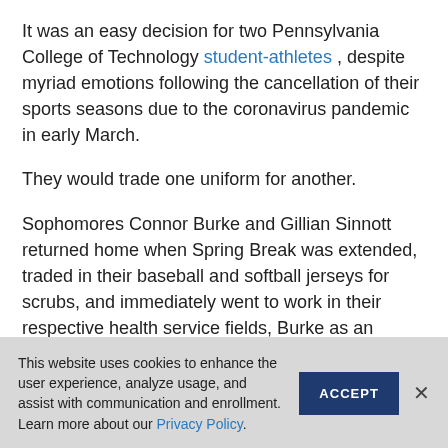It was an easy decision for two Pennsylvania College of Technology student-athletes , despite myriad emotions following the cancellation of their sports seasons due to the coronavirus pandemic in early March.
They would trade one uniform for another.
Sophomores Connor Burke and Gillian Sinnott returned home when Spring Break was extended, traded in their baseball and softball jerseys for scrubs, and immediately went to work in their respective health service fields, Burke as an emergency room technician near his hometown in Pottsville, and Sinnott as an aide
This website uses cookies to enhance the user experience, analyze usage, and assist with communication and enrollment.
Learn more about our Privacy Policy.